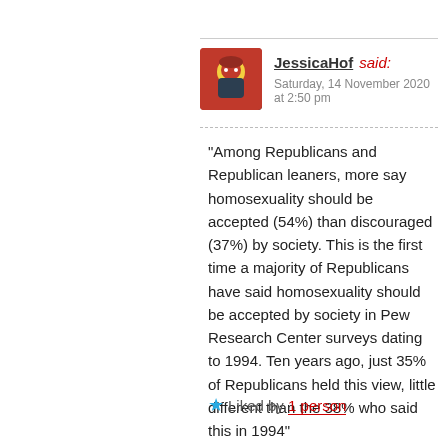JessicaHof said:
Saturday, 14 November 2020 at 2:50 pm
“Among Republicans and Republican leaners, more say homosexuality should be accepted (54%) than discouraged (37%) by society. This is the first time a majority of Republicans have said homosexuality should be accepted by society in Pew Research Center surveys dating to 1994. Ten years ago, just 35% of Republicans held this view, little different than the 38% who said this in 1994”
So it has got better, but I am not sure the research supports your view that conservatives accept gay rights. I know one who seems not to …
★ Liked by 1 person